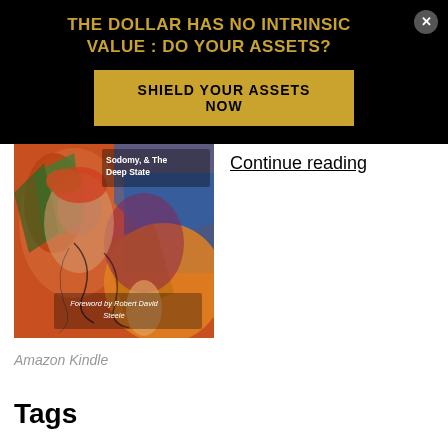THE DOLLAR HAS NO INTRINSIC VALUE : DO YOUR ASSETS?
SHIELD YOUR ASSETS NOW
[Figure (illustration): Book cover illustration with colorful abstract artwork showing a woman's face with decorative patterns; text reads 'Sodomy, & The Deep State' and 'Foreword by Robert David Steele']
Continue reading
Amazon Kindle
Tags